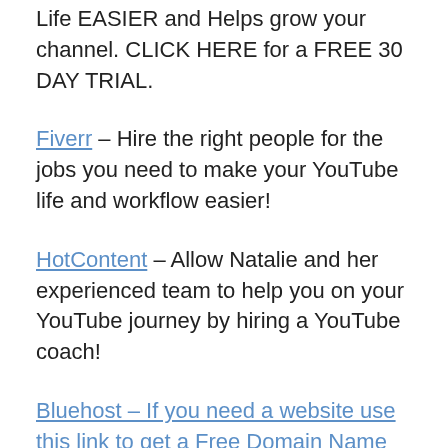Life EASIER and Helps grow your channel. CLICK HERE for a FREE 30 DAY TRIAL.
Fiverr – Hire the right people for the jobs you need to make your YouTube life and workflow easier!
HotContent – Allow Natalie and her experienced team to help you on your YouTube journey by hiring a YouTube coach!
Bluehost – If you need a website use this link to get a Free Domain Name and a great deal on hosting